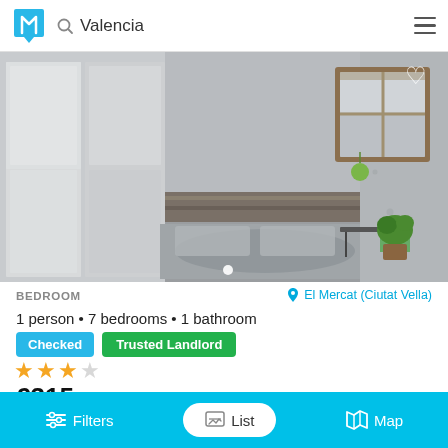Valencia
[Figure (photo): Interior photo of a bedroom with sliding wardrobe doors on the left, a bed with patterned bedding in the center, a wooden headboard wall panel, a brown-framed window on the right, a small black side table, and a potted plant.]
BEDROOM
El Mercat (Ciutat Vella)
1 person • 7 bedrooms • 1 bathroom
Checked
Trusted Landlord
★★★☆
€315 /month
Available from 08 Nov 2022
Filters   List   Map